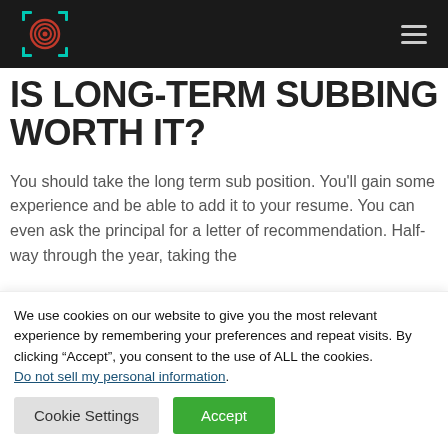[Logo] IS LONG-TERM SUBBING WORTH IT? [hamburger menu]
IS LONG-TERM SUBBING WORTH IT?
You should take the long term sub position. You'll gain some experience and be able to add it to your resume. You can even ask the principal for a letter of recommendation. Half-way through the year, taking the
We use cookies on our website to give you the most relevant experience by remembering your preferences and repeat visits. By clicking “Accept”, you consent to the use of ALL the cookies. Do not sell my personal information.